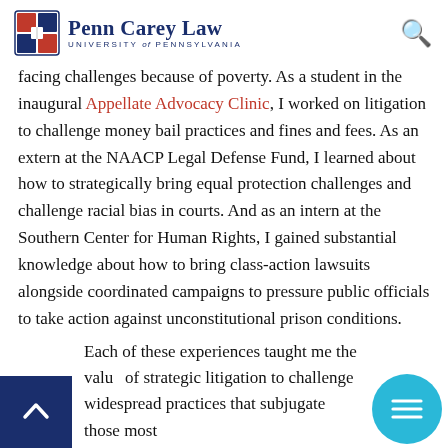Penn Carey Law — University of Pennsylvania
facing challenges because of poverty. As a student in the inaugural Appellate Advocacy Clinic, I worked on litigation to challenge money bail practices and fines and fees. As an extern at the NAACP Legal Defense Fund, I learned about how to strategically bring equal protection challenges and challenge racial bias in courts. And as an intern at the Southern Center for Human Rights, I gained substantial knowledge about how to bring class-action lawsuits alongside coordinated campaigns to pressure public officials to take action against unconstitutional prison conditions.
Each of these experiences taught me the value of strategic litigation to challenge widespread practices that subjugate those most